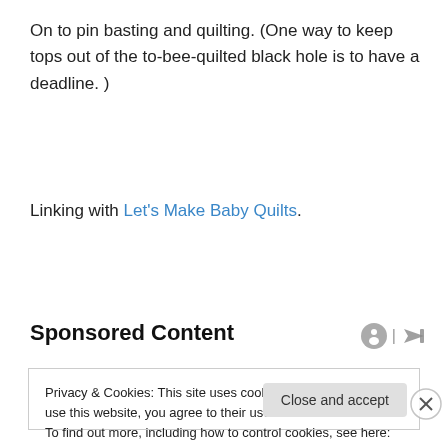On to pin basting and quilting. (One way to keep tops out of the to-bee-quilted black hole is to have a deadline. )
Linking with Let’s Make Baby Quilts.
Sponsored Content
Privacy & Cookies: This site uses cookies. By continuing to use this website, you agree to their use.
To find out more, including how to control cookies, see here: Cookie Policy
Close and accept